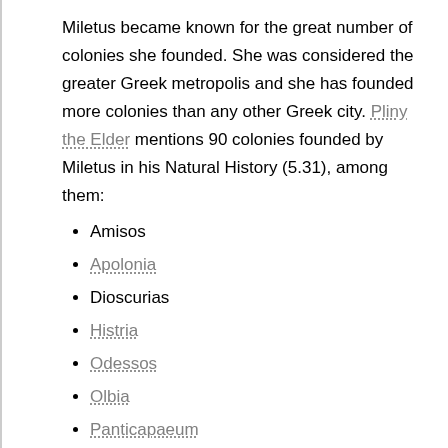Miletus became known for the great number of colonies she founded. She was considered the greater Greek metropolis and she has founded more colonies than any other Greek city. Pliny the Elder mentions 90 colonies founded by Miletus in his Natural History (5.31), among them:
Amisos
Apolonia
Dioscurias
Histria
Odessos
Olbia
Panticapaeum
Phanagoria
Phasis
Pityus